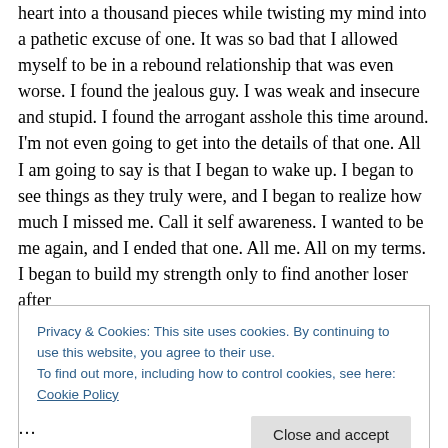heart into a thousand pieces while twisting my mind into a pathetic excuse of one. It was so bad that I allowed myself to be in a rebound relationship that was even worse. I found the jealous guy. I was weak and insecure and stupid. I found the arrogant asshole this time around. I'm not even going to get into the details of that one. All I am going to say is that I began to wake up. I began to see things as they truly were, and I began to realize how much I missed me. Call it self awareness. I wanted to be me again, and I ended that one. All me. All on my terms. I began to build my strength only to find another loser after
Privacy & Cookies: This site uses cookies. By continuing to use this website, you agree to their use.
To find out more, including how to control cookies, see here: Cookie Policy
and … bitchy … and … blah blah blah before …